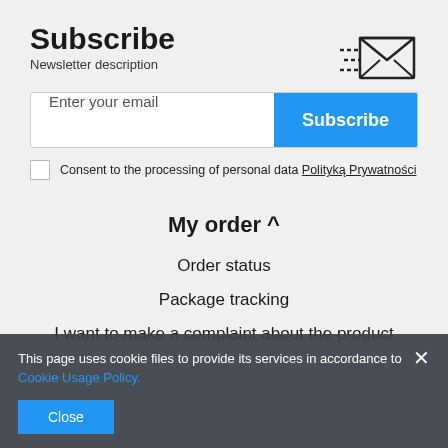Subscribe
Newsletter description
[Figure (illustration): Email envelope icon with speed lines indicating fast delivery]
Enter your email  [Subscribe button]
Consent to the processing of personal data  Polityką Prywatności
My order ^
Order status
Package tracking
I want to make a complaint about the product
This page uses cookie files to provide its services in accordance to Cookie Usage Policy.
Close